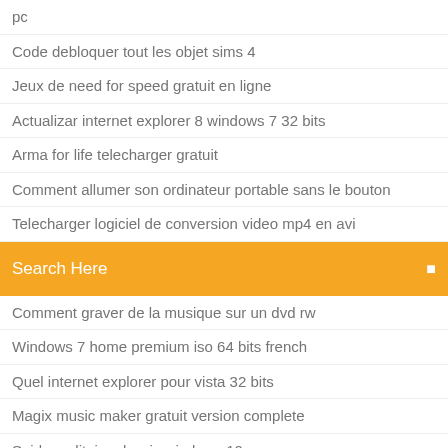pc
Code debloquer tout les objet sims 4
Jeux de need for speed gratuit en ligne
Actualizar internet explorer 8 windows 7 32 bits
Arma for life telecharger gratuit
Comment allumer son ordinateur portable sans le bouton
Telecharger logiciel de conversion video mp4 en avi
Search Here
Comment graver de la musique sur un dvd rw
Windows 7 home premium iso 64 bits french
Quel internet explorer pour vista 32 bits
Magix music maker gratuit version complete
Spider solitaire classic windows 10
Theme windows 10 pour windows 7 startimes
March of empires war of lords windows 7
Maths en poche archive 3eme
Regarder tv gratuitement en direct sur pc
Comment enregistrer un appel sur samsung s7